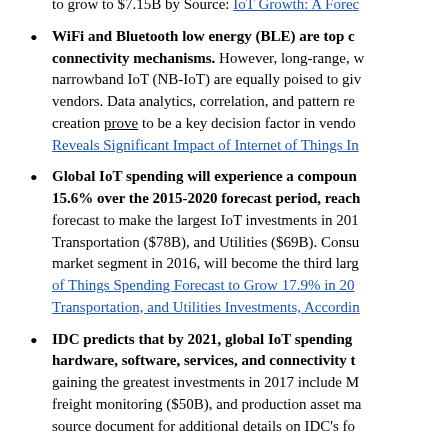to grow to $7.15B by Source: IoT Growth: A Fore...
WiFi and Bluetooth low energy (BLE) are top connectivity mechanisms. However, long-range, w... narrowband IoT (NB-IoT) are equally poised to giv... vendors. Data analytics, correlation, and pattern re... creation prove to be a key decision factor in vendo... Reveals Significant Impact of Internet of Things In...
Global IoT spending will experience a compoun... 15.6% over the 2015-2020 forecast period, reach... forecast to make the largest IoT investments in 201... Transportation ($78B), and Utilities ($69B). Consu... market segment in 2016, will become the third larg... of Things Spending Forecast to Grow 17.9% in 20... Transportation, and Utilities Investments, Accordin...
IDC predicts that by 2021, global IoT spending hardware, software, services, and connectivity t... gaining the greatest investments in 2017 include M... freight monitoring ($50B), and production asset ma... source document for additional details on IDC's fo...